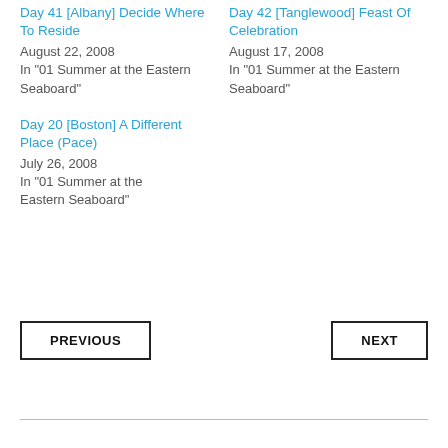Day 41 [Albany] Decide Where To Reside
August 22, 2008
In "01 Summer at the Eastern Seaboard"
Day 42 [Tanglewood] Feast Of Celebration
August 17, 2008
In "01 Summer at the Eastern Seaboard"
Day 20 [Boston] A Different Place (Pace)
July 26, 2008
In "01 Summer at the Eastern Seaboard"
PREVIOUS
NEXT